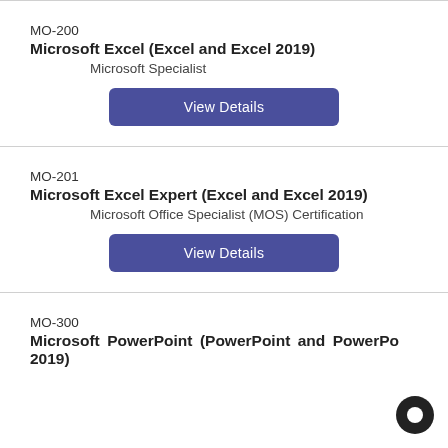MO-200
Microsoft Excel (Excel and Excel 2019)
Microsoft Specialist
View Details
MO-201
Microsoft Excel Expert (Excel and Excel 2019)
Microsoft Office Specialist (MOS) Certification
View Details
MO-300
Microsoft PowerPoint (PowerPoint and PowerPoint 2019)